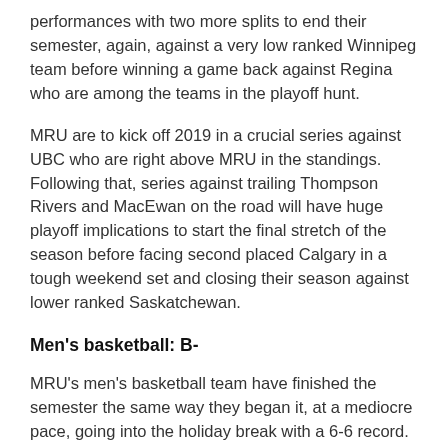performances with two more splits to end their semester, again, against a very low ranked Winnipeg team before winning a game back against Regina who are among the teams in the playoff hunt.
MRU are to kick off 2019 in a crucial series against UBC who are right above MRU in the standings. Following that, series against trailing Thompson Rivers and MacEwan on the road will have huge playoff implications to start the final stretch of the season before facing second placed Calgary in a tough weekend set and closing their season against lower ranked Saskatchewan.
Men's basketball: B-
MRU's men's basketball team have finished the semester the same way they began it, at a mediocre pace, going into the holiday break with a 6-6 record. But so far, they are sitting in a decent ninth place in the Canada West conference.
The boys in blue are shooting the ball at a decent rate from the field, ranking sixth in the conference at 43.3 per cent while shooting fifth best from the three-point line at 34.4 per cent. All around, the Cougars are playing well averaging 43 rebounds per game, fourth highest in the league. But they struggle in